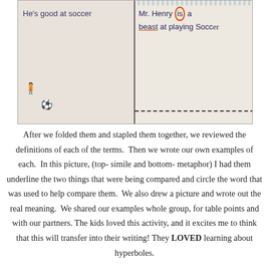[Figure (photo): Photograph of two student papers side by side. Left paper shows handwritten text 'He's good at soccer'. Right paper shows handwritten text 'Mr. Henry is a beast at playing Soccer' with 'beast' underlined in orange and 'is' circled in orange. A stick figure and soccer ball are drawn at the bottom. A dashed line runs across the bottom of the right paper.]
After we folded them and stapled them together, we reviewed the definitions of each of the terms.  Then we wrote our own examples of each.  In this picture, (top- simile and bottom- metaphor) I had them underline the two things that were being compared and circle the word that was used to help compare them.  We also drew a picture and wrote out the real meaning.  We shared our examples whole group, for table points and with our partners. The kids loved this activity, and it excites me to think that this will transfer into their writing! They LOVED learning about hyperboles.